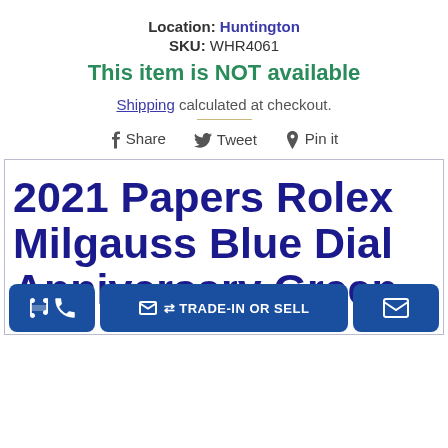Location: Huntington
SKU: WHR4061
This item is NOT available
Shipping calculated at checkout.
Share  Tweet  Pin it
2021 Papers Rolex Milgauss Blue Dial Anniversary Green